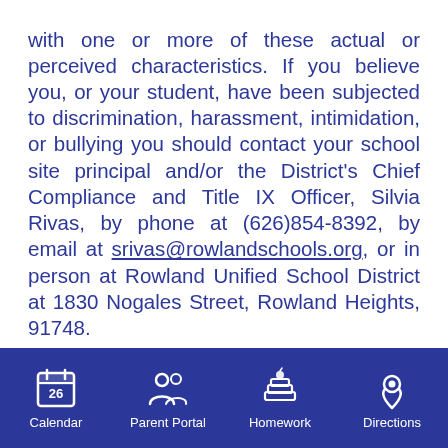with one or more of these actual or perceived characteristics. If you believe you, or your student, have been subjected to discrimination, harassment, intimidation, or bullying you should contact your school site principal and/or the District's Chief Compliance and Title IX Officer, Silvia Rivas, by phone at (626)854-8392, by email at srivas@rowlandschools.org, or in person at Rowland Unified School District at 1830 Nogales Street, Rowland Heights, 91748.
Calendar | Parent Portal | Homework | Directions